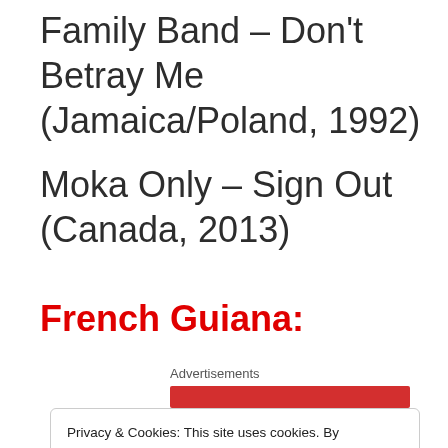Family Band – Don't Betray Me (Jamaica/Poland, 1992)
Moka Only – Sign Out  (Canada, 2013)
French Guiana:
Advertisements
Privacy & Cookies: This site uses cookies. By continuing to use this website, you agree to their use.
To find out more, including how to control cookies, see here: Cookie Policy
Close and accept